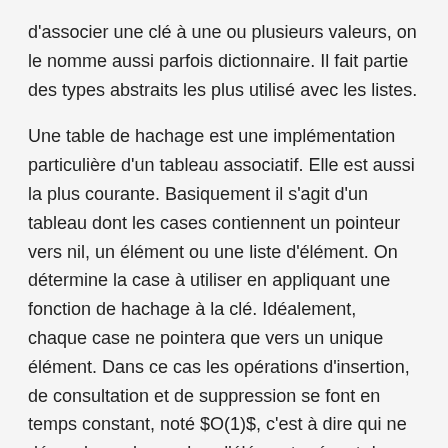d'associer une clé à une ou plusieurs valeurs, on le nomme aussi parfois dictionnaire. Il fait partie des types abstraits les plus utilisé avec les listes.
Une table de hachage est une implémentation particulière d'un tableau associatif. Elle est aussi la plus courante. Basiquement il s'agit d'un tableau dont les cases contiennent un pointeur vers nil, un élément ou une liste d'élément. On détermine la case à utiliser en appliquant une fonction de hachage à la clé. Idéalement, chaque case ne pointera que vers un unique élément. Dans ce cas les opérations d'insertion, de consultation et de suppression se font en temps constant, noté $O(1)$, c'est à dire qui ne dépend pas du nombre d'élément présent dans la table de hachage. Cependant si la ...